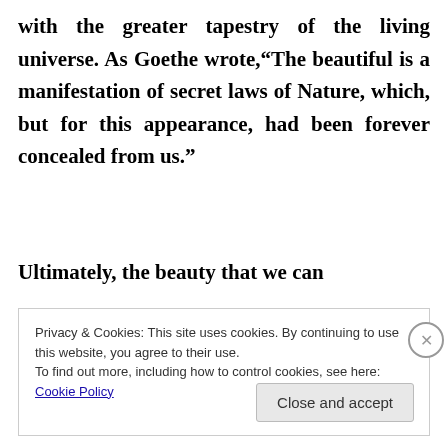with the greater tapestry of the living universe. As Goethe wrote,“The beautiful is a manifestation of secret laws of Nature, which, but for this appearance, had been forever concealed from us.”
Ultimately, the beauty that we can
Privacy & Cookies: This site uses cookies. By continuing to use this website, you agree to their use.
To find out more, including how to control cookies, see here: Cookie Policy